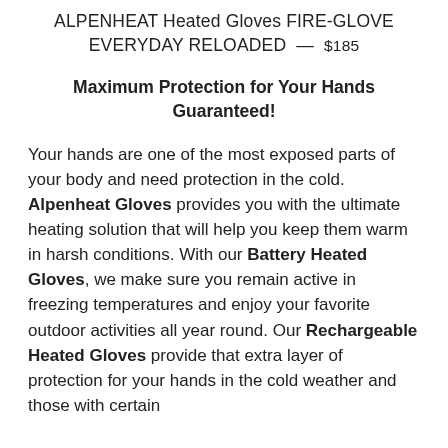ALPENHEAT Heated Gloves FIRE-GLOVE EVERYDAY RELOADED — $185
Maximum Protection for Your Hands Guaranteed!
Your hands are one of the most exposed parts of your body and need protection in the cold. Alpenheat Gloves provides you with the ultimate heating solution that will help you keep them warm in harsh conditions. With our Battery Heated Gloves, we make sure you remain active in freezing temperatures and enjoy your favorite outdoor activities all year round. Our Rechargeable Heated Gloves provide that extra layer of protection for your hands in the cold weather and those with certain